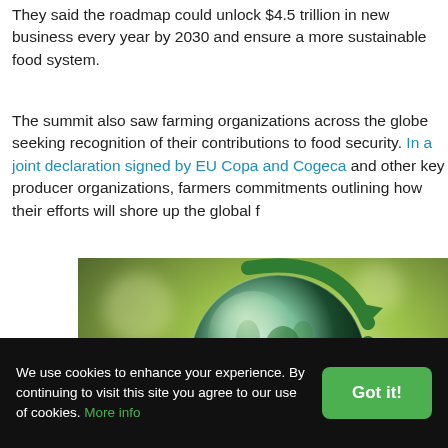They said the roadmap could unlock $4.5 trillion in new business every year by 2030 and ensure a more sustainable food system.
The summit also saw farming organizations across the globe seeking recognition of their contributions to food security. In a joint declaration signed by EU Copa and Cogeca and other key producer organizations, farmers put forward commitments outlining how their efforts will shore up the global f...
[Figure (photo): Photo of a green globe with a recycling symbol made of green arrows and a green plant sprouting from the center, against a blurred green background. Represents sustainability and environmental themes.]
We use cookies to enhance your experience. By continuing to visit this site you agree to our use of cookies. More info